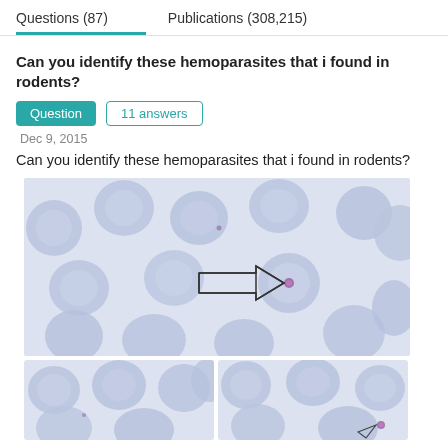Questions (87)    Publications (308,215)
Can you identify these hemoparasites that i found in rodents?
Question   11 answers
Dec 9, 2015
Can you identify these hemoparasites that i found in rodents?
[Figure (photo): Microscopy image of rodent blood smear showing red blood cells with an arrow pointing to a hemoparasite (small purple dot) inside a red blood cell]
[Figure (photo): Microscopy image of rodent blood smear showing red blood cells, bottom left]
[Figure (photo): Microscopy image of rodent blood smear showing red blood cells with a parasite indicated by an arrow, bottom right]